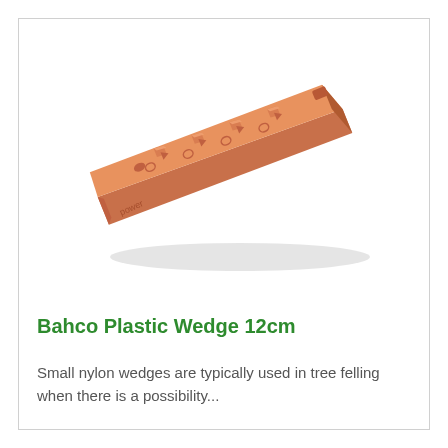[Figure (photo): Orange/salmon-colored plastic nylon felling wedge (Bahco 12cm), photographed at an angle showing its tapered shape with raised ridges and embossed 'power' text on the surface.]
Bahco Plastic Wedge 12cm
Small nylon wedges are typically used in tree felling when there is a possibility...